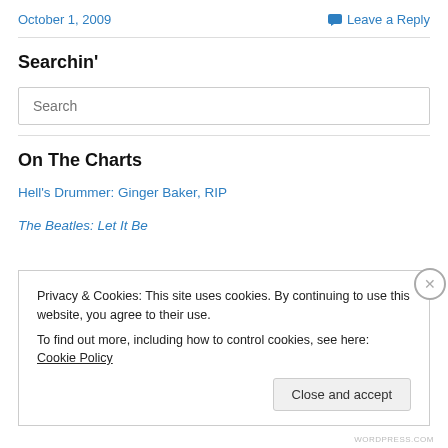October 1, 2009
Leave a Reply
Searchin’
Search
On The Charts
Hell’s Drummer: Ginger Baker, RIP
The Beatles: Let It Be
Privacy & Cookies: This site uses cookies. By continuing to use this website, you agree to their use.
To find out more, including how to control cookies, see here: Cookie Policy
Close and accept